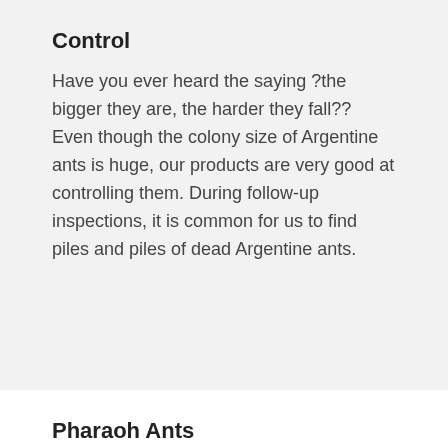Control
Have you ever heard the saying ?the bigger they are, the harder they fall?? Even though the colony size of Argentine ants is huge, our products are very good at controlling them. During follow-up inspections, it is common for us to find piles and piles of dead Argentine ants.
Pharaoh Ants
This is the most feared ant by pest control